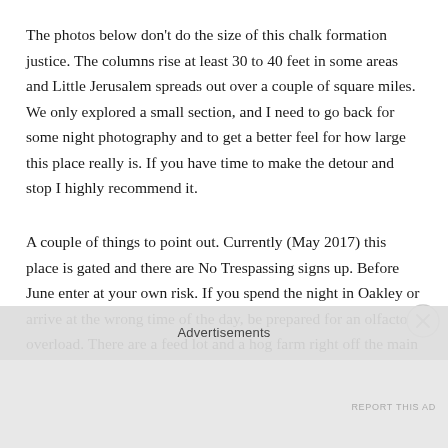The photos below don't do the size of this chalk formation justice. The columns rise at least 30 to 40 feet in some areas and Little Jerusalem spreads out over a couple of square miles. We only explored a small section, and I need to go back for some night photography and to get a better feel for how large this place really is. If you have time to make the detour and stop I highly recommend it.
A couple of things to point out. Currently (May 2017) this place is gated and there are No Trespassing signs up. Before June enter at your own risk. If you spend the night in Oakley or arrive at the wrong time of the day, be prepared for an olfactory overload. There are a feed lot and a hog farm right off the main drag and the stink can be pretty overpowering if there is no breeze. It was so bad when we arrived I almost lost my lunch when I got out of the car. The good news is, both Monument rocks and Little Jerusalem are far enough away, you won't smell it there. You will also want to go in some sort of
Advertisements